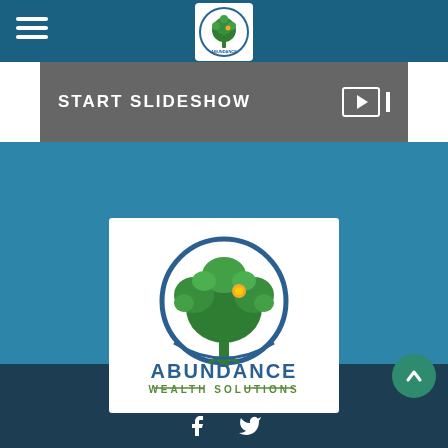[Figure (logo): Abundance Wealth Solutions logo in navigation bar — tree with circular border, white background]
[Figure (screenshot): Slideshow banner with text START SLIDESHOW and a video play button on the right]
An Inside Look at Retirement Living
A number of questions and concerns need to be addressed to help you better prepare for retirement living.
[Figure (logo): Abundance Wealth Solutions large logo — green tree with blue circle, ABUNDANCE WEALTH SOLUTIONS text, white background]
[Figure (other): Facebook and Twitter social media icons at bottom]